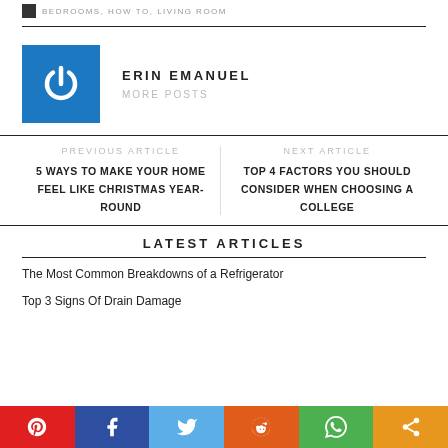BEDROOMS, HOW TO, LIVING ROOM
[Figure (logo): Blue square with white power button icon - author avatar for Erin Emanuel]
ERIN EMANUEL
MORE POSTS
PREVIOUS ARTICLE
5 WAYS TO MAKE YOUR HOME FEEL LIKE CHRISTMAS YEAR-ROUND
NEXT ARTICLE
TOP 4 FACTORS YOU SHOULD CONSIDER WHEN CHOOSING A COLLEGE
LATEST ARTICLES
The Most Common Breakdowns of a Refrigerator
Top 3 Signs Of Drain Damage
[Figure (infographic): Social sharing bar with Pinterest (red), Facebook (blue), Twitter (light blue), Reddit (orange), WhatsApp (green), and Share (orange) buttons]